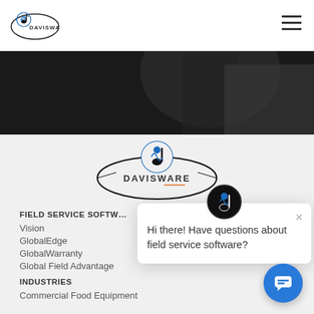[Figure (logo): Davisware logo in header (small oval with globe and text DAVISWARE)]
[Figure (photo): Dark hero image, appears to show a person in dark clothing]
[Figure (logo): Davisware large oval logo with globe icon and DAVISWARE text]
[Figure (screenshot): Chat popup with Davisware icon and message: Hi there! Have questions about field service software?]
FIELD SERVICE SOFTW…
Vision
GlobalEdge
GlobalWarranty
Global Field Advantage
INDUSTRIES
Commercial Food Equipment